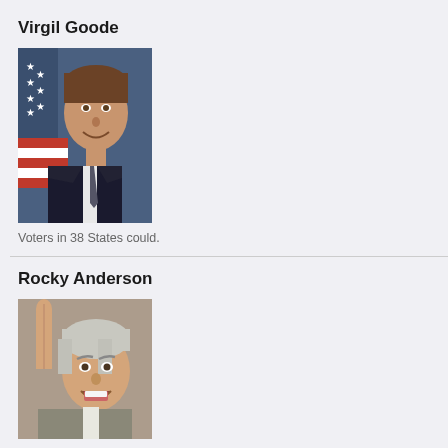Virgil Goode
[Figure (photo): Portrait photo of Virgil Goode in suit and tie with American flag in background]
Voters in 38 States could.
Rocky Anderson
[Figure (photo): Photo of Rocky Anderson gesturing with one finger raised, smiling]